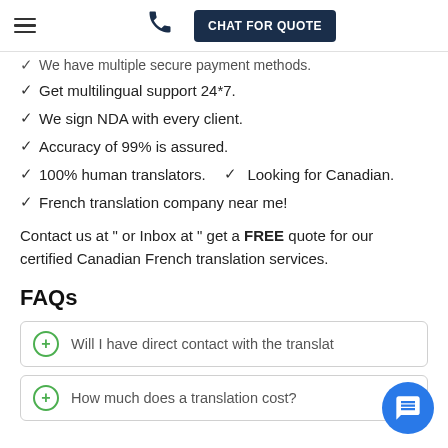CHAT FOR QUOTE
✓ We have multiple secure payment methods.
✓ Get multilingual support 24*7.
✓ We sign NDA with every client.
✓ Accuracy of 99% is assured.
✓ 100% human translators.   ✓ Looking for Canadian.
✓ French translation company near me!
Contact us at " or Inbox at " get a FREE quote for our certified Canadian French translation services.
FAQs
Will I have direct contact with the translator
How much does a translation cost?